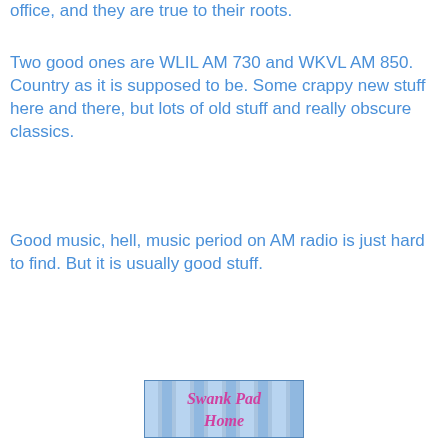office, and they are true to their roots.
Two good ones are WLIL AM 730 and WKVL AM 850. Country as it is supposed to be. Some crappy new stuff here and there, but lots of old stuff and really obscure classics.
Good music, hell, music period on AM radio is just hard to find. But it is usually good stuff.
[Figure (logo): Swank Pad Home logo banner with blue striped background and pink/magenta text reading 'Swank Pad Home']